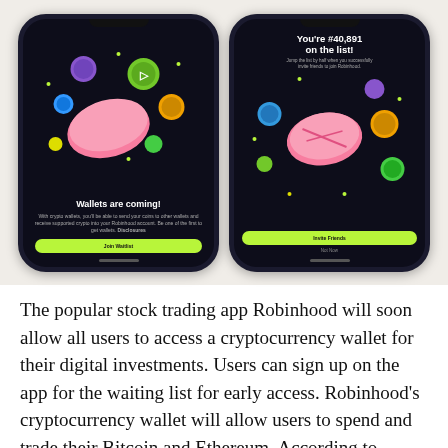[Figure (screenshot): Two smartphone screenshots of the Robinhood app showing crypto wallet waitlist screens. Left phone shows 'Wallets are coming!' screen with colorful crypto coin illustrations and a pink wallet graphic, with a green 'Join Waitlist' button. Right phone shows 'You're #40,891 on the list!' screen with similar coin illustrations and a pink wallet graphic, with 'Invite Friends' and 'Not Now' buttons.]
The popular stock trading app Robinhood will soon allow all users to access a cryptocurrency wallet for their digital investments. Users can sign up on the app for the waiting list for early access. Robinhood's cryptocurrency wallet will allow users to spend and trade their Bitcoin and Ethereum. According to Robinhood's crypto lead, Christine Brown, waitlist access will begin by the end of 2021. Likewise, the feature will go on to be available to all